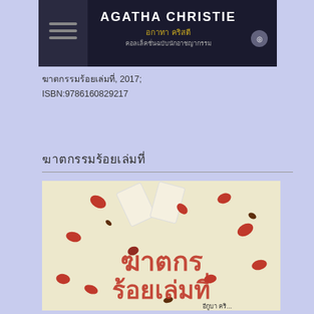[Figure (illustration): Book cover image showing Agatha Christie branding with Thai text subtitle and author icon on dark background]
ฆาตกรรมร้อยเล่มที่, 2017; ISBN:9786160829217
ฆาตกรรมร้อยเล่มที่
[Figure (photo): Book cover of Thai edition showing scattered playing cards and red rose petals with Thai title text 'ฆาตกรรม ร้อยเล่มที่' in orange/brown letters]
1962